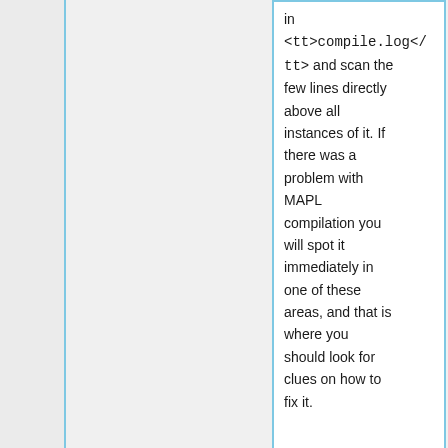in <compile.log> and scan the few lines directly above all instances of it. If there was a problem with MAPL compilation you will spot it immediately in one of these areas, and that is where you should look for clues on how to fix it.
If you plan on developing within MAPL please
If you plan on developing within MAPL please